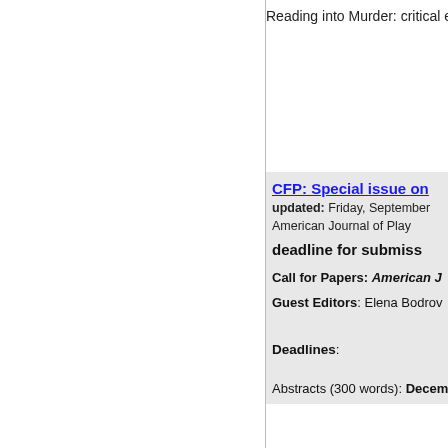Reading into Murder: critical e
CFP: Special issue on
updated: Friday, September
American Journal of Play
deadline for submiss
Call for Papers: American J
Guest Editors: Elena Bodrov
Deadlines:
Abstracts (300 words): Decem